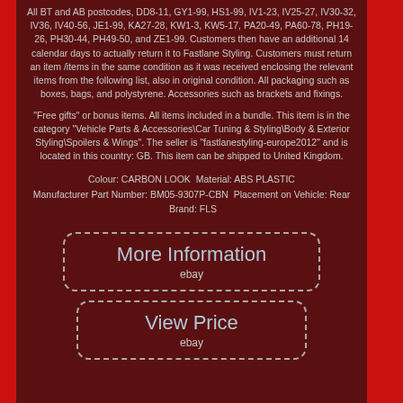All BT and AB postcodes, DD8-11, GY1-99, HS1-99, IV1-23, IV25-27, IV30-32, IV36, IV40-56, JE1-99, KA27-28, KW1-3, KW5-17, PA20-49, PA60-78, PH19-26, PH30-44, PH49-50, and ZE1-99. Customers then have an additional 14 calendar days to actually return it to Fastlane Styling. Customers must return an item /items in the same condition as it was received enclosing the relevant items from the following list, also in original condition. All packaging such as boxes, bags, and polystyrene. Accessories such as brackets and fixings.
"Free gifts" or bonus items. All items included in a bundle. This item is in the category "Vehicle Parts & Accessories\Car Tuning & Styling\Body & Exterior Styling\Spoilers & Wings". The seller is "fastlanestyling-europe2012" and is located in this country: GB. This item can be shipped to United Kingdom.
Colour: CARBON LOOK Material: ABS PLASTIC Manufacturer Part Number: BM05-9307P-CBN Placement on Vehicle: Rear Brand: FLS
[Figure (other): Button with dashed border and rounded corners reading 'More Information' with 'ebay' below, on dark red background]
[Figure (other): Button with dashed border and rounded corners reading 'View Price' with 'ebay' below, on dark red background]